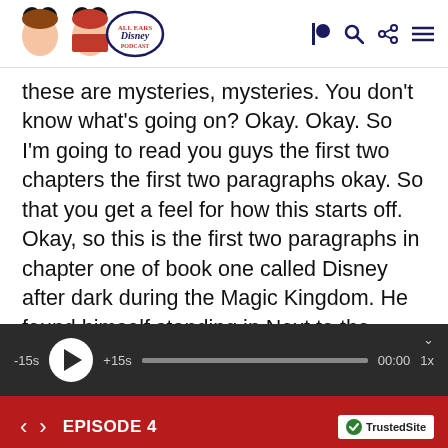All Ears Disney Podcast header with navigation icons
these are mysteries, mysteries. You don't know what's going on? Okay. Okay. So I'm going to read you guys the first two chapters the first two paragraphs okay. So that you get a feel for how this starts off. Okay, so this is the first two paragraphs in chapter one of book one called Disney after dark during the Magic Kingdom. He found himself standing in Next to the flagpole in town square in the heart of the Magic
[Figure (screenshot): Audio player bar with -15s, play button, +15s, progress bar, 00:00 timestamp, and 1x speed control]
EPISODE 4 | TrustedSite